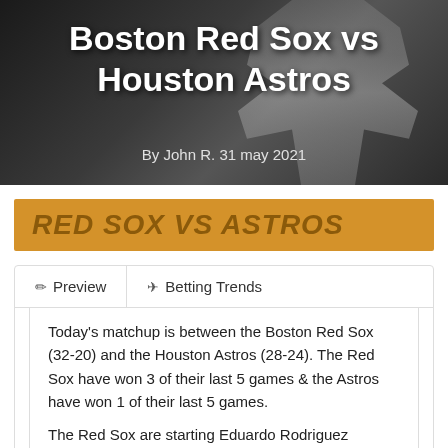[Figure (photo): Baseball player in Houston Astros uniform (number 35) on a dark background]
Boston Red Sox vs Houston Astros
By John R. 31 may 2021
RED SOX VS ASTROS
Preview
Betting Trends
Today's matchup is between the Boston Red Sox (32-20) and the Houston Astros (28-24). The Red Sox have won 3 of their last 5 games & the Astros have won 1 of their last 5 games.
The Red Sox are starting Eduardo Rodriguez